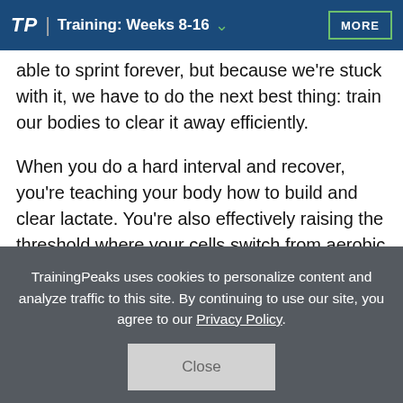TP | Training: Weeks 8-16 ∨  MORE
able to sprint forever, but because we're stuck with it, we have to do the next best thing: train our bodies to clear it away efficiently.
When you do a hard interval and recover, you're teaching your body how to build and clear lactate. You're also effectively raising the threshold where your cells switch from aerobic respiration to anaerobic respiration (this is called your lactic...
TrainingPeaks uses cookies to personalize content and analyze traffic to this site. By continuing to use our site, you agree to our Privacy Policy.
Close